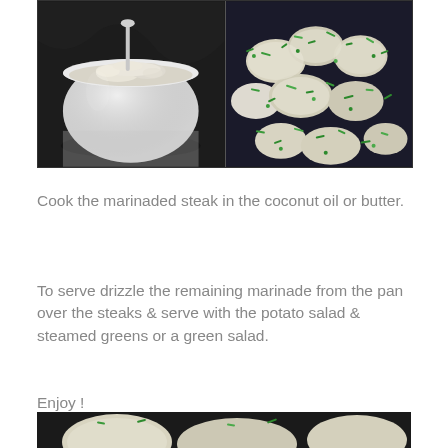[Figure (photo): Two-panel food photo collage: left panel shows a white bowl with creamy potato salad and a spoon on a dark surface; right panel shows potato salad topped with chopped green chives/herbs on a dark background.]
Cook the marinaded steak in the coconut oil or butter.
To serve drizzle the remaining marinade from the pan over the steaks & serve with the potato salad & steamed greens or a green salad.
Enjoy !
[Figure (photo): Partial view of a food dish at the bottom of the page, cropped.]